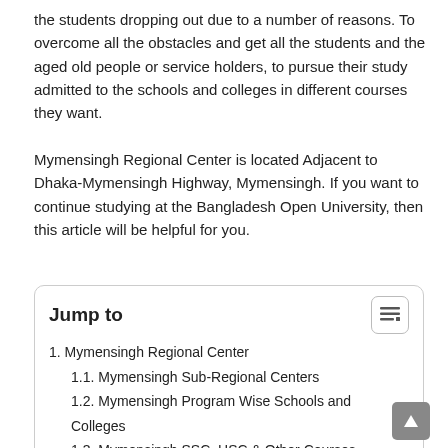the students dropping out due to a number of reasons. To overcome all the obstacles and get all the students and the aged old people or service holders, to pursue their study admitted to the schools and colleges in different courses they want.
Mymensingh Regional Center is located Adjacent to Dhaka-Mymensingh Highway, Mymensingh. If you want to continue studying at the Bangladesh Open University, then this article will be helpful for you.
1. Mymensingh Regional Center
1.1. Mymensingh Sub-Regional Centers
1.2. Mymensingh Program Wise Schools and Colleges
1.3. Mymensingh SSC, HSC & Other Courses
1.4. BA/BSS Program
1.5. Mymensingh Regional Center Address